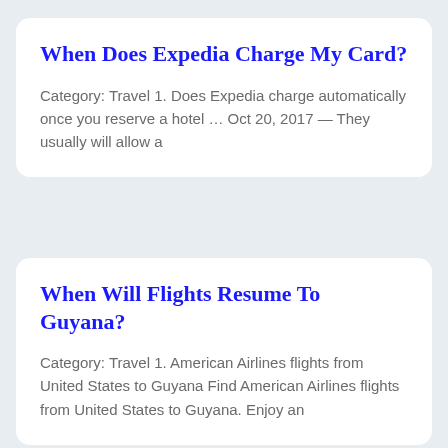When Does Expedia Charge My Card?
Category: Travel 1. Does Expedia charge automatically once you reserve a hotel … Oct 20, 2017 — They usually will allow a
When Will Flights Resume To Guyana?
Category: Travel 1. American Airlines flights from United States to Guyana Find American Airlines flights from United States to Guyana. Enjoy an